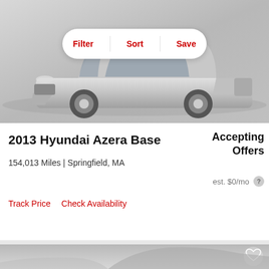[Figure (photo): Silver Hyundai Azera sedan car photo from front-side angle on grey gradient background with Filter/Sort/Save toolbar overlay]
2013 Hyundai Azera Base
Accepting Offers
154,013 Miles | Springfield, MA
est. $0/mo
Track Price   Check Availability
[Figure (photo): Partial view of a grey/silver sedan car on a light grey gradient background with a heart/save icon in the top right]